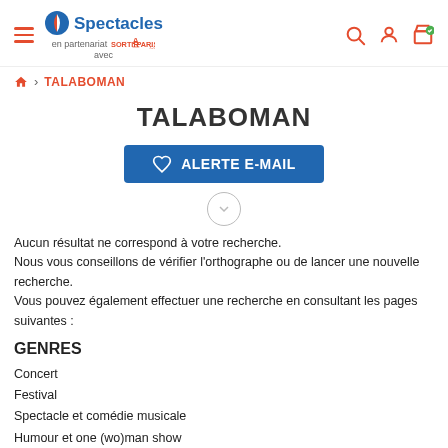Carrefour Spectacles en partenariat avec SortirAParis.com
> TALABOMAN
TALABOMAN
ALERTE E-MAIL
Aucun résultat ne correspond à votre recherche.
Nous vous conseillons de vérifier l'orthographe ou de lancer une nouvelle recherche.
Vous pouvez également effectuer une recherche en consultant les pages suivantes :
GENRES
Concert
Festival
Spectacle et comédie musicale
Humour et one (wo)man show